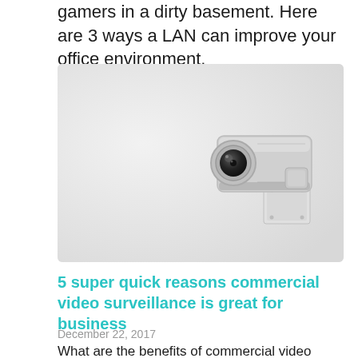gamers in a dirty basement. Here are 3 ways a LAN can improve your office environment.
[Figure (photo): A white security/surveillance camera mounted on a light grey wall, viewed from below at an angle. The camera is positioned in the upper right area of the image.]
5 super quick reasons commercial video surveillance is great for business
December 22, 2017
What are the benefits of commercial video surveillance and how can this technology